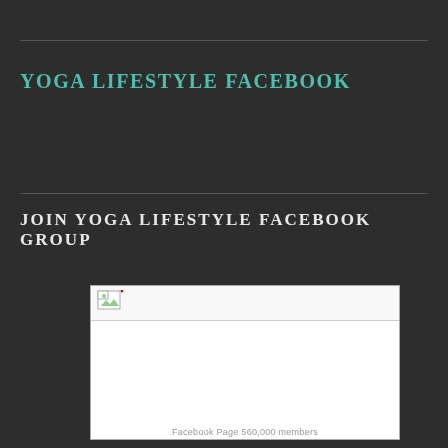YOGA LIFESTYLE FACEBOOK
JOIN YOGA LIFESTYLE FACEBOOK GROUP
[Figure (photo): Broken image placeholder showing a small image icon, representing a Facebook page image that failed to load, with caption 'Facebook Page 560,000 members']
Facebook Page 560,000 members